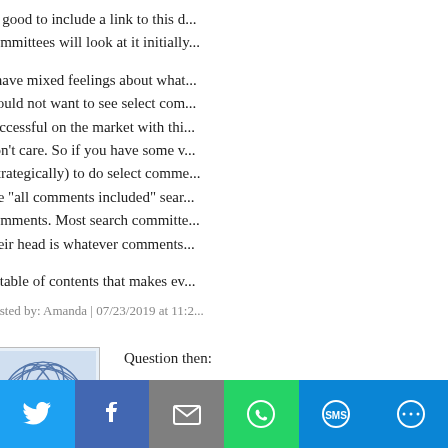as good to include a link to this d... committees will look at it initially...
I have mixed feelings about what... would not want to see select com... successful on the market with thi... don't care. So if you have some v... (strategically) to do select comme... the "all comments included" sear... comments. Most search committe... their head is whatever comments...
A table of contents that makes ev...
Posted by: Amanda | 07/23/2019 at 11:2...
[Figure (illustration): Blue globe/network avatar icon]
Question then:
If I decide to include both positiv... ward off the impression that I am...
But at the same time, including m... presumably everyone has negativ...
So I wonder if the best approach...
[Figure (infographic): Social share bar with Twitter, Facebook, Email, WhatsApp, SMS, More buttons]